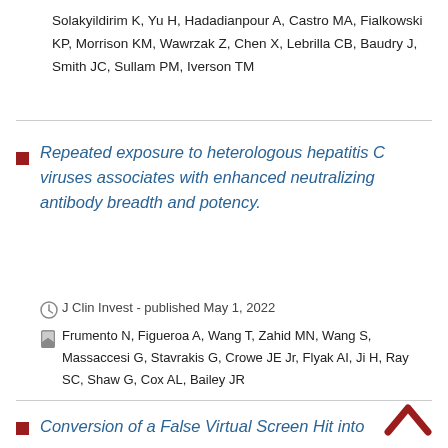Solakyildirim K, Yu H, Hadadianpour A, Castro MA, Fialkowski KP, Morrison KM, Wawrzak Z, Chen X, Lebrilla CB, Baudry J, Smith JC, Sullam PM, Iverson TM
Repeated exposure to heterologous hepatitis C viruses associates with enhanced neutralizing antibody breadth and potency.
J Clin Invest - published May 1, 2022
Frumento N, Figueroa A, Wang T, Zahid MN, Wang S, Massaccesi G, Stavrakis G, Crowe JE Jr, Flyak AI, Ji H, Ray SC, Shaw G, Cox AL, Bailey JR
Conversion of a False Virtual Screen Hit into